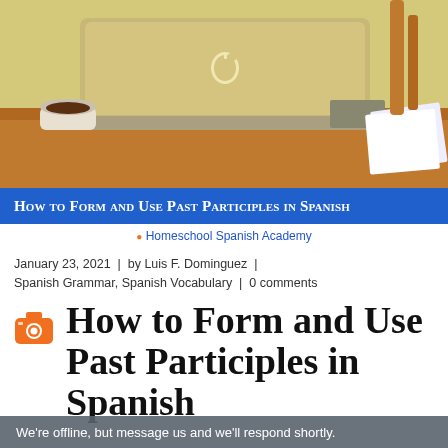[Figure (photo): Photo of a MacBook laptop on a wooden desk with a cup of coffee and papers, Apple logo visible on the lid, wooden chair in background, warm yellow wall.]
How to Form and Use Past Participles in Spanish
Homeschool Spanish Academy
January 23, 2021  |  by Luis F. Dominguez  |  Spanish Grammar, Spanish Vocabulary  |  0 comments
How to Form and Use Past Participles in Spanish
We're offline, but message us and we'll respond shortly.